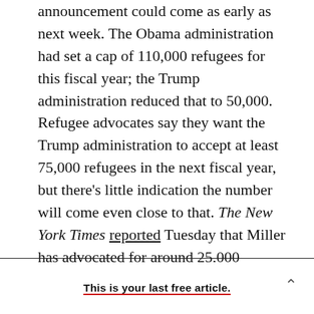announcement could come as early as next week. The Obama administration had set a cap of 110,000 refugees for this fiscal year; the Trump administration reduced that to 50,000. Refugee advocates say they want the Trump administration to accept at least 75,000 refugees in the next fiscal year, but there's little indication the number will come even close to that. The New York Times reported Tuesday that Miller has advocated for around 25,000 refugees, and that the Department of Homeland Security proposed a cap of 40,000. That number would be the lowest since 1986, when the Reagan administration set a cap of 67,000. (A
This is your last free article.